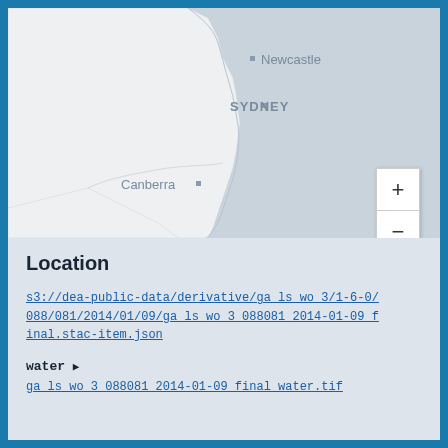[Figure (map): Map showing eastern Australia coastline with cities marked: Newcastle, SYDNEY, Canberra. The map shows land in white/light color and ocean in grey. A zoom in (+) and zoom out (-) control is visible in the lower right.]
Location
s3://dea-public-data/derivative/ga_ls_wo_3/1-6-0/088/081/2014/01/09/ga_ls_wo_3_088081_2014-01-09_final.stac-item.json
water ▶
ga_ls_wo_3_088081_2014-01-09_final_water.tif